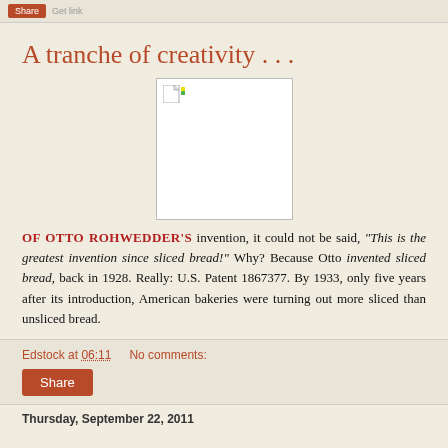Share
A tranche of creativity . . .
[Figure (photo): Broken/missing image placeholder showing a small document icon in upper left corner, white background with grey border]
OF OTTO ROHWEDDER'S invention, it could not be said, "This is the greatest invention since sliced bread!" Why? Because Otto invented sliced bread, back in 1928. Really: U.S. Patent 1867377. By 1933, only five years after its introduction, American bakeries were turning out more sliced than unsliced bread.
Edstock at 06:11    No comments:
Share
Thursday, September 22, 2011